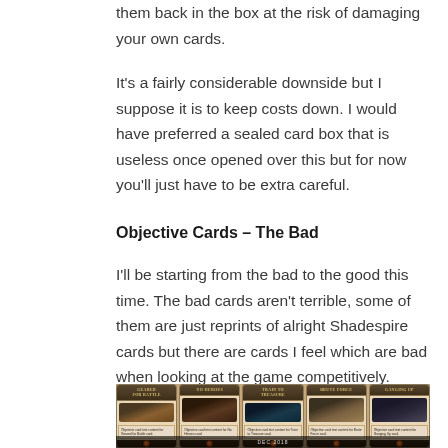them back in the box at the risk of damaging your own cards.
It's a fairly considerable downside but I suppose it is to keep costs down. I would have preferred a sealed card box that is useless once opened over this but for now you'll just have to be extra careful.
Objective Cards – The Bad
I'll be starting from the bad to the good this time. The bad cards aren't terrible, some of them are just reprints of alright Shadespire cards but there are cards I feel which are bad when looking at the game competitively.
[Figure (photo): Five game cards laid out on a wooden table surface. The cards are titled (left to right): Geared for Battle, No Heroes, Train to Treasure, Brute Force, Ganging Up. Each card has a decorative fantasy-style border, an illustration, text body, and orange gem tokens at the bottom. A dark bar at the bottom center reads 'DEC 2018'.]